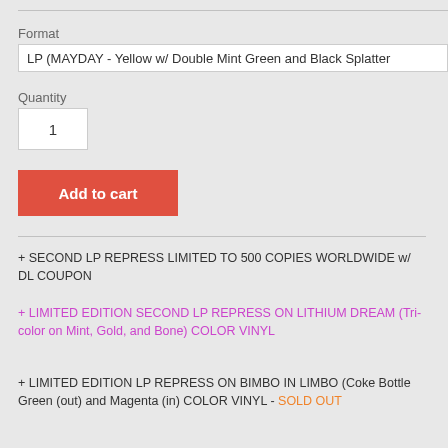Format
LP (MAYDAY - Yellow w/ Double Mint Green and Black Splatter
Quantity
1
Add to cart
+ SECOND LP REPRESS LIMITED TO 500 COPIES WORLDWIDE w/ DL COUPON
+ LIMITED EDITION SECOND LP REPRESS ON LITHIUM DREAM (Tri-color on Mint, Gold, and Bone) COLOR VINYL
+ LIMITED EDITION LP REPRESS ON BIMBO IN LIMBO (Coke Bottle Green (out) and Magenta (in) COLOR VINYL - SOLD OUT